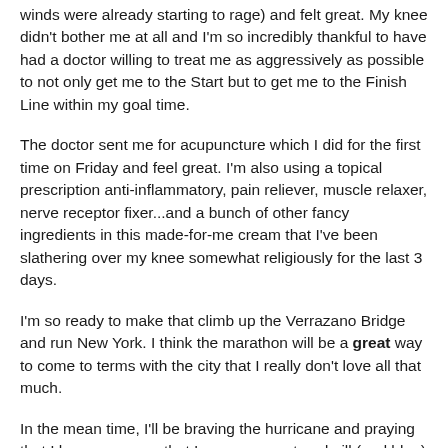winds were already starting to rage) and felt great. My knee didn't bother me at all and I'm so incredibly thankful to have had a doctor willing to treat me as aggressively as possible to not only get me to the Start but to get me to the Finish Line within my goal time.
The doctor sent me for acupuncture which I did for the first time on Friday and feel great. I'm also using a topical prescription anti-inflammatory, pain reliever, muscle relaxer, nerve receptor fixer...and a bunch of other fancy ingredients in this made-for-me cream that I've been slathering over my knee somewhat religiously for the last 3 days.
I'm so ready to make that climb up the Verrazano Bridge and run New York. I think the marathon will be a great way to come to terms with the city that I really don't love all that much.
In the mean time, I'll be braving the hurricane and praying that I have power so that I can run on a treadmill (and blog) because a power outage would lead to me not running and would probably lead to the most severe case of taper